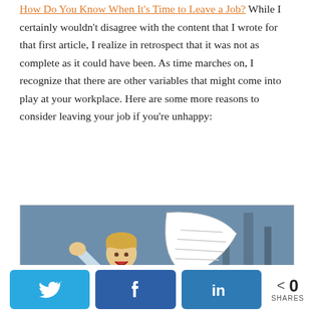How Do You Know When It's Time to Leave a Job? While I certainly wouldn't disagree with the content that I wrote for that first article, I realize in retrospect that it was not as complete as it could have been. As time marches on, I recognize that there are other variables that might come into play at your workplace. Here are some more reasons to consider leaving your job if you're unhappy:
[Figure (illustration): Cartoon illustration of an angry man in a white shirt and red tie throwing papers, with documents flying around in a chaotic office setting with blue/grey background]
0 SHARES — social sharing buttons for Twitter, Facebook, LinkedIn